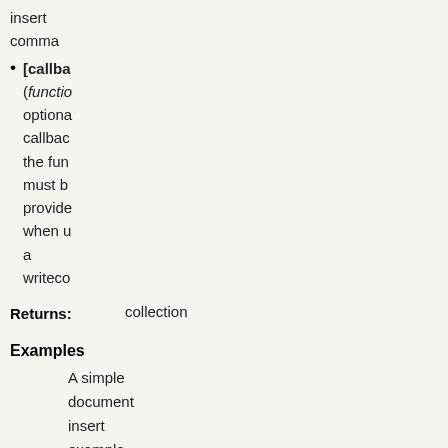insert comma
[callback] (function) optional callback function; the function must be provided when using a writeconcern
Returns: collection
Examples
A simple document insert example, not using